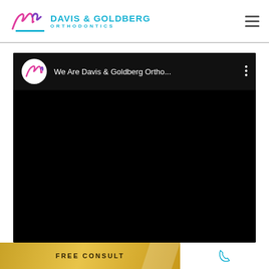[Figure (logo): Davis & Goldberg Orthodontics logo with stylized script mark and teal text]
[Figure (screenshot): Embedded video player with black background showing 'We Are Davis & Goldberg Ortho...' title with channel avatar]
FREE CONSULT